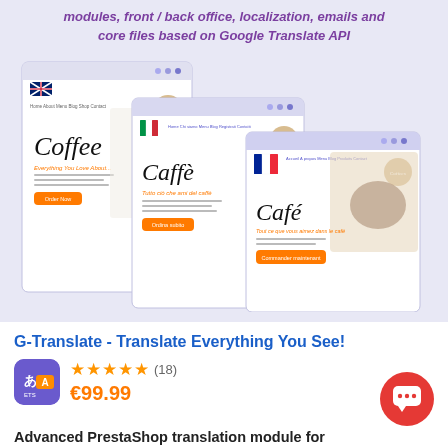[Figure (screenshot): Promotional banner showing three overlapping browser window mockups of a coffee website translated into English (Coffee), Italian (Caffè), and French (Café), set against a light purple/lavender background. Above the mockups is italic bold text describing the product features.]
modules, front / back office, localization, emails and core files based on Google Translate API
G-Translate - Translate Everything You See!
★★★★★ (18)
€99.99
Advanced PrestaShop translation module for